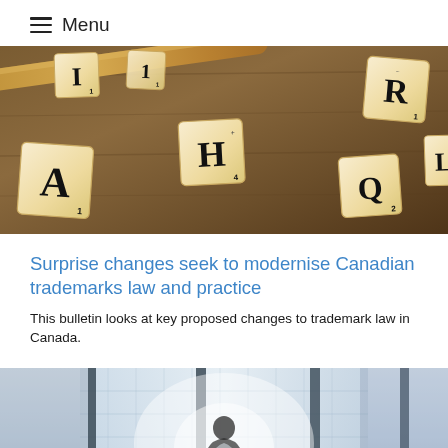≡ Menu
[Figure (photo): Scrabble letter tiles (I, H, R, A, Q and others) scattered on a wooden table surface with a wooden rolling pin or rod]
Surprise changes seek to modernise Canadian trademarks law and practice
This bulletin looks at key proposed changes to trademark law in Canada.
[Figure (photo): Business professional silhouetted behind glass office building exterior with vertical structural columns, backlighting creating a bright atmospheric effect]